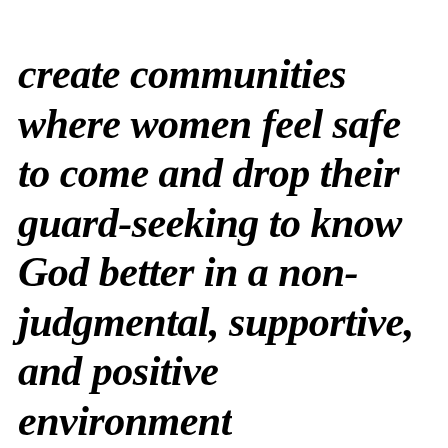create communities where women feel safe to come and drop their guard-seeking to know God better in a non-judgmental, supportive, and positive environment